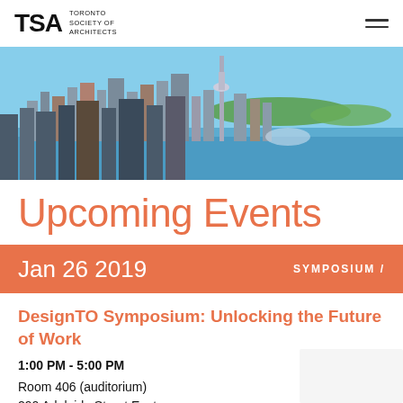TSA TORONTO SOCIETY OF ARCHITECTS
[Figure (photo): Aerial view of Toronto skyline with CN Tower, waterfront, and Toronto Islands in background]
Upcoming Events
Jan 26 2019   SYMPOSIUM /
DesignTO Symposium: Unlocking the Future of Work
1:00 PM - 5:00 PM
Room 406 (auditorium)
290 Adelaide Street East
George Brown College